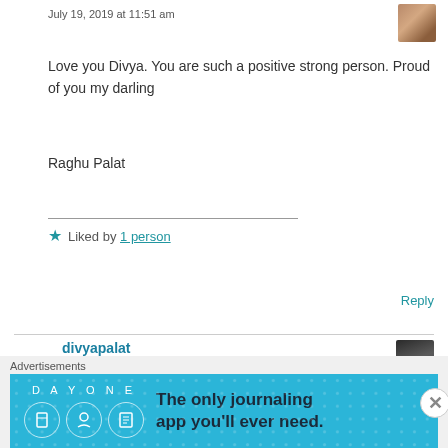July 19, 2019 at 11:51 am
[Figure (photo): Small avatar/profile photo thumbnail, upper right]
Love you Divya. You are such a positive strong person. Proud of you my darling
Raghu Palat
★ Liked by 1 person
Reply
divyapalat
July 19, 2019 at 11:54 am
[Figure (photo): Small avatar/profile photo thumbnail for divyapalat]
Advertisements
[Figure (infographic): Day One journaling app advertisement banner with blue background, icons, and text: The only journaling app you'll ever need.]